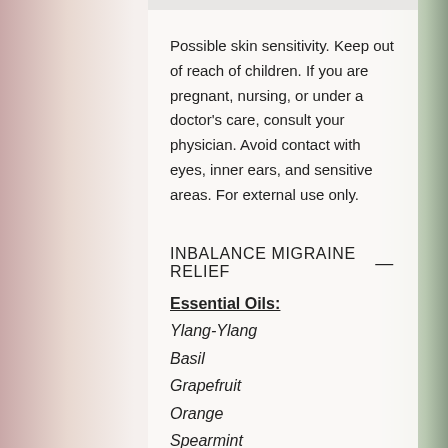Possible skin sensitivity. Keep out of reach of children. If you are pregnant, nursing, or under a doctor's care, consult your physician. Avoid contact with eyes, inner ears, and sensitive areas. For external use only.
INBALANCE MIGRAINE RELIEF  —
Essential Oils:
Ylang-Ylang
Basil
Grapefruit
Orange
Spearmint
Patchouli
Clove